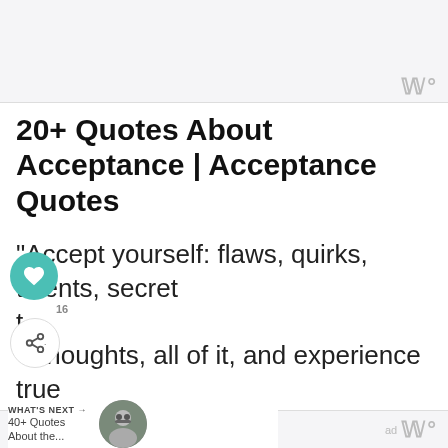[Figure (other): Top banner advertisement area with light gray background]
20+ Quotes About Acceptance | Acceptance Quotes
“Accept yourself: flaws, quirks, talents, secret thoughts, all of it, and experience true liberation.” – Amy Leigh Mercree
[Figure (other): Teal heart icon circle (like/save button) and share icon circle with 16 count badge]
WHAT’S NEXT → 40+ Quotes About the...
[Figure (photo): Circular thumbnail photo of a person with glasses]
“Accept – then act. Whatever the present
ad